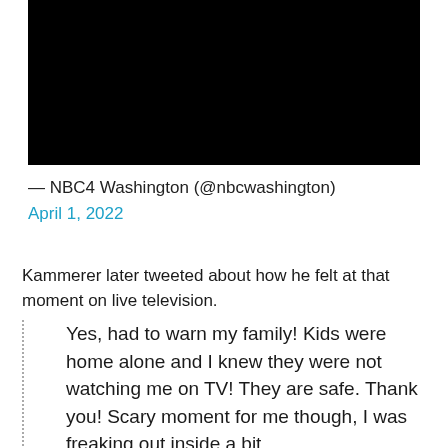[Figure (screenshot): Black video thumbnail/embed placeholder]
— NBC4 Washington (@nbcwashington)
April 1, 2022
Kammerer later tweeted about how he felt at that moment on live television.
Yes, had to warn my family! Kids were home alone and I knew they were not watching me on TV! They are safe. Thank you! Scary moment for me though, I was freaking out inside a bit.